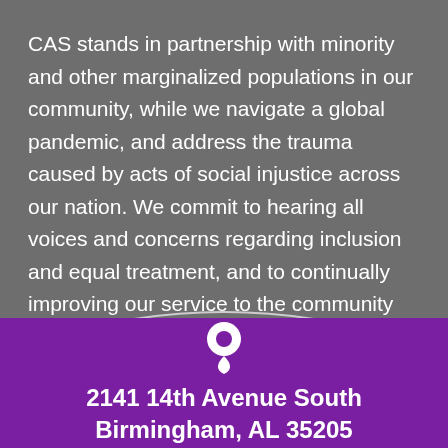CAS stands in partnership with minority and other marginalized populations in our community, while we navigate a global pandemic, and address the trauma caused by acts of social injustice across our nation. We commit to hearing all voices and concerns regarding inclusion and equal treatment, and to continually improving our service to the community through our collective strengths, made possible by our individual differences.
✕ DISMISS
2141 14th Avenue South Birmingham, AL 35205